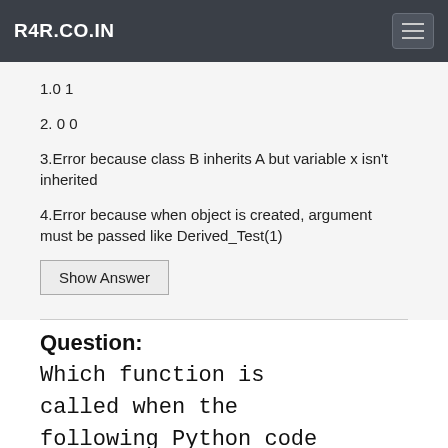R4R.CO.IN
1.0 1
2. 0 0
3.Error because class B inherits A but variable x isn't inherited
4.Error because when object is created, argument must be passed like Derived_Test(1)
Show Answer
Question:
Which function is called when the following Python code